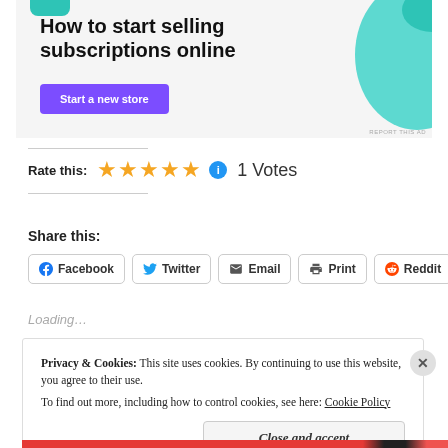[Figure (illustration): Advertisement banner with teal accent shapes. Text reads 'How to start selling subscriptions online' with a purple 'Start a new store' button. 'REPORT THIS AD' text in bottom right.]
Rate this: ★★★★★ ℹ 1 Votes
Share this:
Facebook  Twitter  Email  Print  Reddit
Loading...
Privacy & Cookies: This site uses cookies. By continuing to use this website, you agree to their use. To find out more, including how to control cookies, see here: Cookie Policy
Close and accept